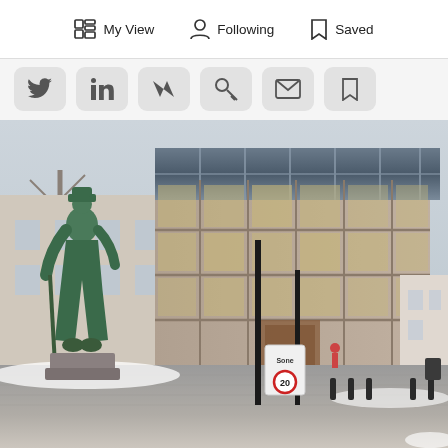My View  Following  Saved
[Figure (screenshot): Row of social media and sharing icon buttons: Twitter, LinkedIn, Medium/Bookmark, link/key, email/envelope, bookmark icons in rounded square containers]
[Figure (photo): Outdoor urban photograph showing a bronze statue of a man in a long coat and hat standing in a public square, with a modern glass-topped building behind him. The building has a tan/brown facade with a grid of windows and a large glass penthouse level. To the left is an older cream-colored building. Trees without leaves are visible. Snow is on the ground. A 'Sone 20' speed sign is visible in the foreground.]